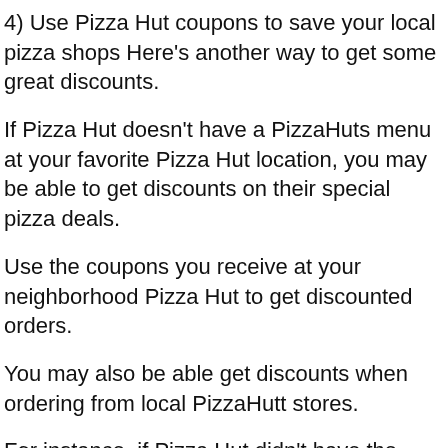4) Use Pizza Hut coupons to save your local pizza shops Here's another way to get some great discounts.
If Pizza Hut doesn't have a PizzaHuts menu at your favorite Pizza Hut location, you may be able to get discounts on their special pizza deals.
Use the coupons you receive at your neighborhood Pizza Hut to get discounted orders.
You may also be able get discounts when ordering from local PizzaHutt stores.
For instance, if Pizza Hut didn't have the Pizza Hat code on their website, they may offer you a 15%-20% discount when you order from a Pizza Hutt store.
5) Save on your gas prices With all of the coupons and promotions, you might be wondering how to go about saving on your energy bills.
To help you save on the price of your gas, you will be able buy